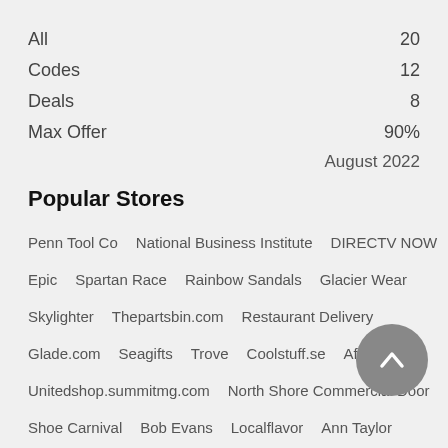| All | 20 |
| Codes | 12 |
| Deals | 8 |
| Max Offer | 90% |
August 2022
Popular Stores
Penn Tool Co    National Business Institute    DIRECTV NOW
Epic    Spartan Race    Rainbow Sandals    Glacier Wear
Skylighter    Thepartsbin.com    Restaurant Delivery
Glade.com    Seagifts    Trove    Coolstuff.se    Afwfilters
Unitedshop.summitmg.com    North Shore Commercial Door
Shoe Carnival    Bob Evans    Localflavor    Ann Taylor